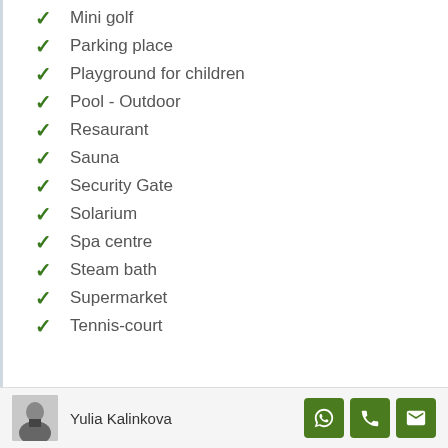Mini golf
Parking place
Playground for children
Pool - Outdoor
Resaurant
Sauna
Security Gate
Solarium
Spa centre
Steam bath
Supermarket
Tennis-court
Yulia Kalinkova